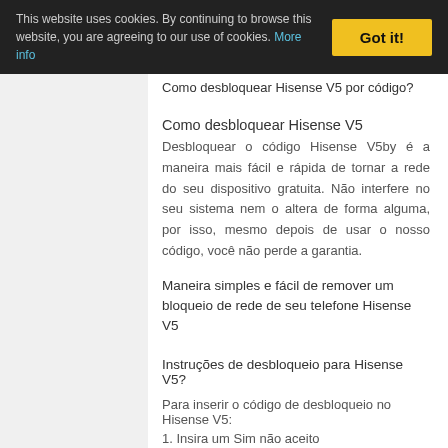This website uses cookies. By continuing to browse this website, you are agreeing to our use of cookies. More info  Got it!
Como desbloquear Hisense V5 por código?
Como desbloquear Hisense V5
Desbloquear o código Hisense V5by é a maneira mais fácil e rápida de tornar a rede do seu dispositivo gratuita. Não interfere no seu sistema nem o altera de forma alguma, por isso, mesmo depois de usar o nosso código, você não perde a garantia.
Maneira simples e fácil de remover um bloqueio de rede de seu telefone Hisense V5
Instruções de desbloqueio para Hisense V5?
Para inserir o código de desbloqueio no Hisense V5:
1. Insira um Sim não aceito